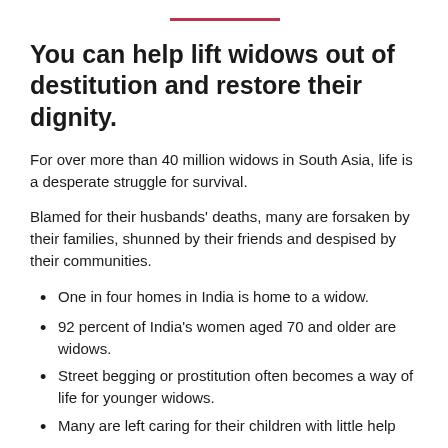You can help lift widows out of destitution and restore their dignity.
For over more than 40 million widows in South Asia, life is a desperate struggle for survival.
Blamed for their husbands' deaths, many are forsaken by their families, shunned by their friends and despised by their communities.
One in four homes in India is home to a widow.
92 percent of India's women aged 70 and older are widows.
Street begging or prostitution often becomes a way of life for younger widows.
Many are left caring for their children with little help